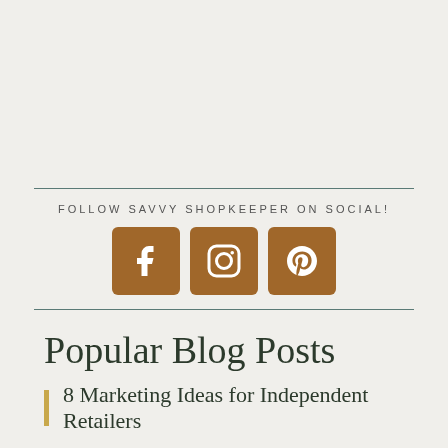FOLLOW SAVVY SHOPKEEPER ON SOCIAL!
[Figure (infographic): Three brown rounded square social media icons for Facebook, Instagram, and Pinterest]
Popular Blog Posts
8 Marketing Ideas for Independent Retailers